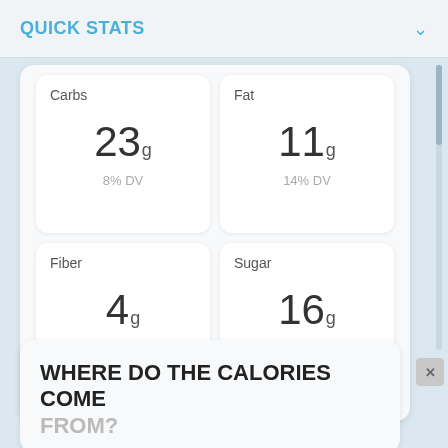QUICK STATS
| Nutrient | Amount | % DV |
| --- | --- | --- |
| Carbs | 23g | 8% DV |
| Fat | 11g | 14% DV |
| Fiber | 4g | 14% DV |
| Sugar | 16g | 32% DV |
WHERE DO THE CALORIES COME FROM?